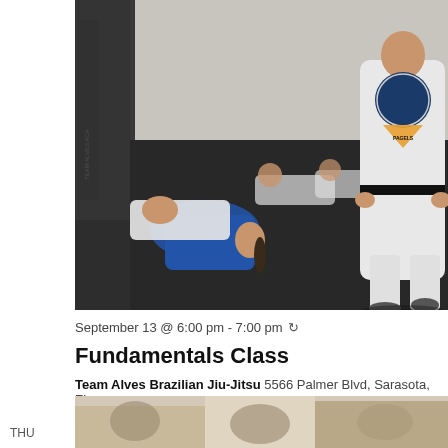[Figure (photo): Brazilian Jiu-Jitsu class in session on dark mats. A female student in a blue gi is sparring with another student on the floor, while a male instructor in a white gi with a black belt and Team Alves patch stands watching. Other students are visible in the background.]
September 13 @ 6:00 pm - 7:00 pm ↺
Fundamentals Class
Team Alves Brazilian Jiu-Jitsu 5566 Palmer Blvd, Sarasota, FL
[Figure (photo): Partial view of another BJJ class or event photo at the bottom of the page.]